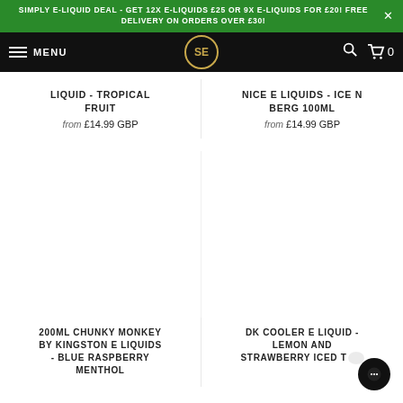SIMPLY E-LIQUID DEAL - GET 12X E-LIQUIDS £25 OR 9X E-LIQUIDS FOR £20! FREE DELIVERY ON ORDERS OVER £30!
MENU | SE logo | search | cart 0
LIQUID - TROPICAL FRUIT
from £14.99 GBP
NICE E LIQUIDS - ICE N BERG 100ML
from £14.99 GBP
200ML CHUNKY MONKEY BY KINGSTON E LIQUIDS - BLUE RASPBERRY MENTHOL
DK COOLER E LIQUID - LEMON AND STRAWBERRY ICED T…
from £12.99 GBP